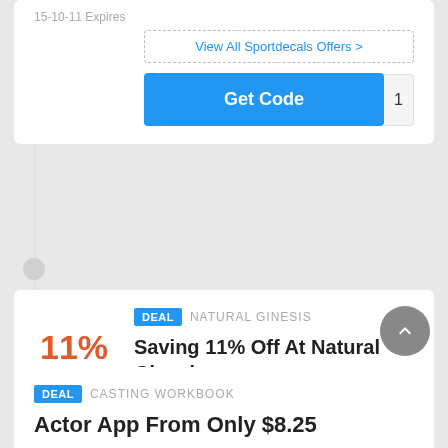15-10-11 Expires
View All Sportdecals Offers >
Get Code  1
DEAL  NATURAL GINESIS
Saving 11% Off At Natural Ginesis
11%
18-11-22 Expires
View All Natural Ginesis Offers >
Get Deal
DEAL  CASTING WORKBOOK
Actor App From Only $8.25